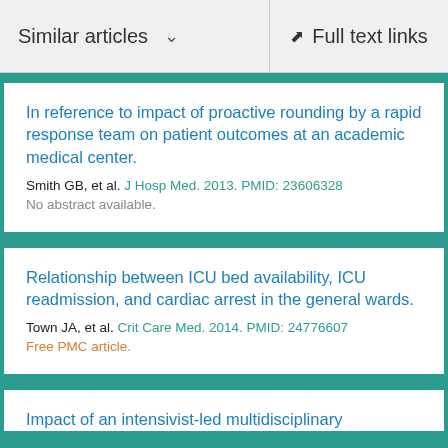Similar articles  ∨   Full text links
In reference to impact of proactive rounding by a rapid response team on patient outcomes at an academic medical center.
Smith GB, et al. J Hosp Med. 2013. PMID: 23606328
No abstract available.
Relationship between ICU bed availability, ICU readmission, and cardiac arrest in the general wards.
Town JA, et al. Crit Care Med. 2014. PMID: 24776607
Free PMC article.
Impact of an intensivist-led multidisciplinary